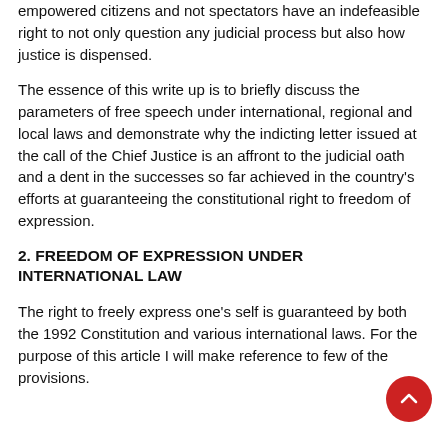empowered citizens and not spectators have an indefeasible right to not only question any judicial process but also how justice is dispensed.
The essence of this write up is to briefly discuss the parameters of free speech under international, regional and local laws and demonstrate why the indicting letter issued at the call of the Chief Justice is an affront to the judicial oath and a dent in the successes so far achieved in the country's efforts at guaranteeing the constitutional right to freedom of expression.
2. FREEDOM OF EXPRESSION UNDER INTERNATIONAL LAW
The right to freely express one's self is guaranteed by both the 1992 Constitution and various international laws. For the purpose of this article I will make reference to few of the provisions.